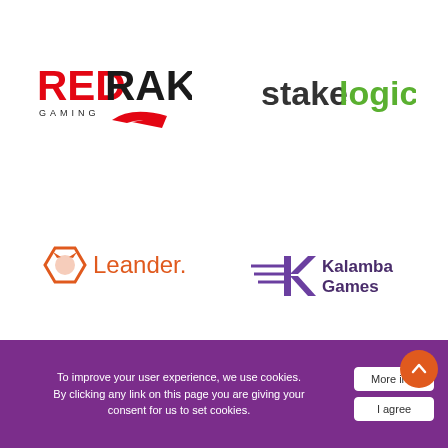[Figure (logo): Red Rake Gaming logo - red and dark text with gaming plane graphic]
[Figure (logo): Stakelogic logo - dark and green text]
[Figure (logo): Leander Games logo - hexagon icon with fox and orange text]
[Figure (logo): Kalamba Games logo - purple geometric arrow shapes with text]
[Figure (logo): BTG (Big Time Gaming) logo - red circular badge with stars]
[Figure (logo): Booming Games logo - red bold text with dark subtitle]
To improve your user experience, we use cookies. By clicking any link on this page you are giving your consent for us to set cookies.